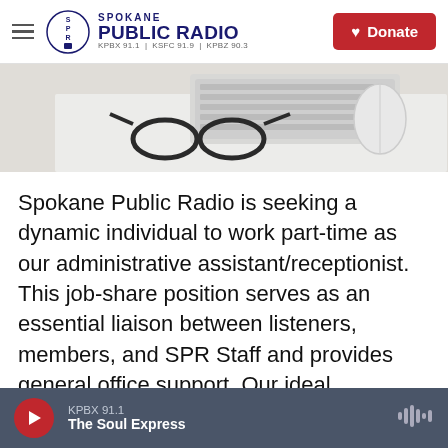Spokane Public Radio — KPBX 91.1 | KSFC 91.9 | KPBZ 90.3 | Donate
[Figure (photo): A desk surface with glasses and a computer mouse on a white background, partially cropped.]
Spokane Public Radio is seeking a dynamic individual to work part-time as our administrative assistant/receptionist. This job-share position serves as an essential liaison between listeners, members, and SPR Staff and provides general office support. Our ideal candidate is detail oriented, able to multi-task, and has
KPBX 91.1 — The Soul Express